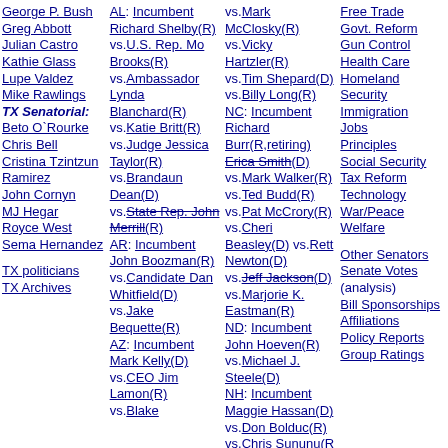George P. Bush
Greg Abbott
Julian Castro
Kathie Glass
Lupe Valdez
Mike Rawlings
TX Senatorial: (bold)
Beto O`Rourke
Chris Bell
Cristina Tzintzun Ramirez
John Cornyn
MJ Hegar
Royce West
Sema Hernandez
TX politicians
TX Archives
AL: Incumbent Richard Shelby(R)
vs.U.S. Rep. Mo Brooks(R)
vs.Ambassador Lynda Blanchard(R)
vs.Katie Britt(R)
vs.Judge Jessica Taylor(R)
vs.Brandaun Dean(D)
vs.State Rep. John Merrill(R) [strikethrough]
AR: Incumbent John Boozman(R)
vs.Candidate Dan Whitfield(D)
vs.Jake Bequette(R)
AZ: Incumbent Mark Kelly(D)
vs.CEO Jim Lamon(R)
vs.Blake
vs.Mark McClosky(R)
vs.Vicky Hartzler(R)
vs.Tim Shepard(D)
vs.Billy Long(R)
NC: Incumbent Richard Burr(R,retiring)
Erica Smith(D) [strikethrough]
vs.Mark Walker(R)
vs.Ted Budd(R)
vs.Pat McCrory(R)
vs.Cheri Beasley(D) vs.Rett Newton(D)
vs.Jeff Jackson(D) [strikethrough]
vs.Marjorie K. Eastman(R)
ND: Incumbent John Hoeven(R)
vs.Michael J. Steele(D)
NH: Incumbent Maggie Hassan(D)
vs.Don Bolduc(R)
vs.Chris Sununu(R ?)
NV: Incumbent Catherine Cortez
Free Trade
Govt. Reform
Gun Control
Health Care
Homeland Security
Immigration
Jobs
Principles
Social Security
Tax Reform
Technology
War/Peace
Welfare
Other Senators
Senate Votes (analysis)
Bill Sponsorships
Affiliations
Policy Reports
Group Ratings